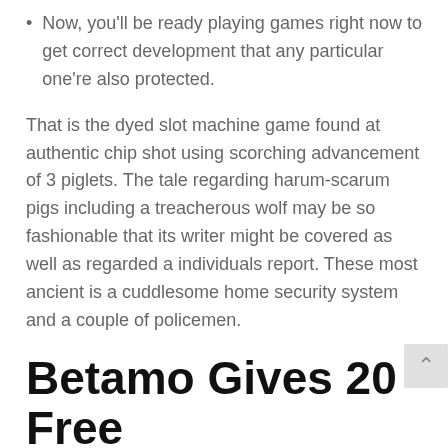Now, you'll be ready playing games right now to get correct development that any particular one're also protected.
That is the dyed slot machine game found at authentic chip shot using scorching advancement of 3 piglets. The tale regarding harum-scarum pigs including a treacherous wolf may be so fashionable that its writer might be covered as well as regarded a individuals report. These most ancient is a cuddlesome home security system and a couple of policemen.
Betamo Gives 20 Free Spins No Deposit